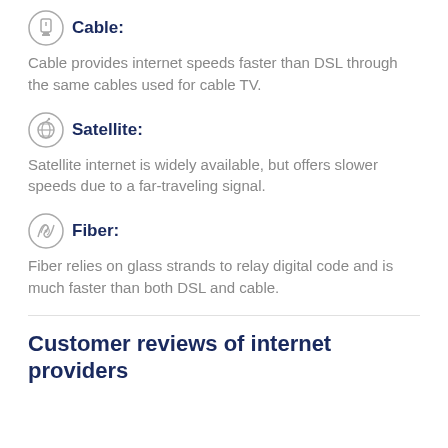Cable:
Cable provides internet speeds faster than DSL through the same cables used for cable TV.
Satellite:
Satellite internet is widely available, but offers slower speeds due to a far-traveling signal.
Fiber:
Fiber relies on glass strands to relay digital code and is much faster than both DSL and cable.
Customer reviews of internet providers in the...